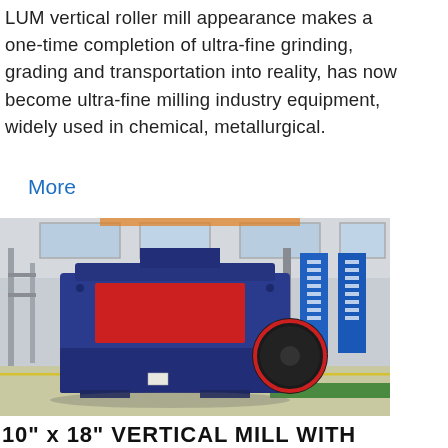LUM vertical roller mill appearance makes a one-time completion of ultra-fine grinding, grading and transportation into reality, has now become ultra-fine milling industry equipment, widely used in chemical, metallurgical.
More
[Figure (photo): Large blue industrial impact crusher/mill machine on a factory floor. The machine has a prominent red rectangular panel on the front and a large black circular flywheel on the side. The factory interior shows high ceilings, structural steel, windows, and blue information signs in Chinese.]
10" x 18" VERTICAL MILL WITH